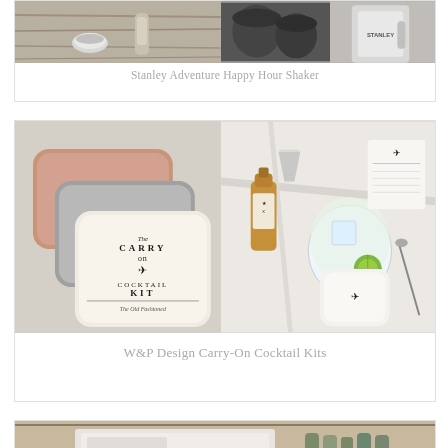[Figure (photo): Product photo of Stanley Adventure Happy Hour Shaker — three panel image showing cocktail shaker components on wooden surface, dark cups, and Stanley branded mug]
Stanley Adventure Happy Hour Shaker
[Figure (photo): Product photo of W&P Design Carry-On Cocktail Kits — left panel showing stacked tin cocktail kit boxes labeled CARRY ON COCKTAIL KIT, right panel showing cocktail ingredients and glass overhead shot]
W&P Design Carry-On Cocktail Kits
[Figure (photo): Partially visible product photo at bottom of page showing a brown leather travel bar kit with zipper and bottles inside]